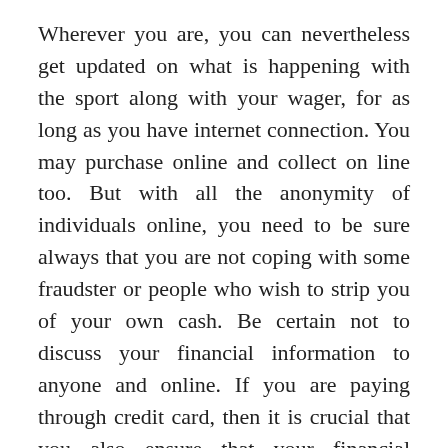Wherever you are, you can nevertheless get updated on what is happening with the sport along with your wager, for as long as you have internet connection. You may purchase online and collect on line too. But with all the anonymity of individuals online, you need to be sure always that you are not coping with some fraudster or people who wish to strip you of your own cash. Be certain not to discuss your financial information to anyone and online. If you are paying through credit card, then it is crucial that you also ensure that your financial information is secure online. Another benefit of gambling online is that, you may even study straight away on some information regarding the riders and horses who may also offer you hints of where to set your bets wisely. You may also get details of their horses'